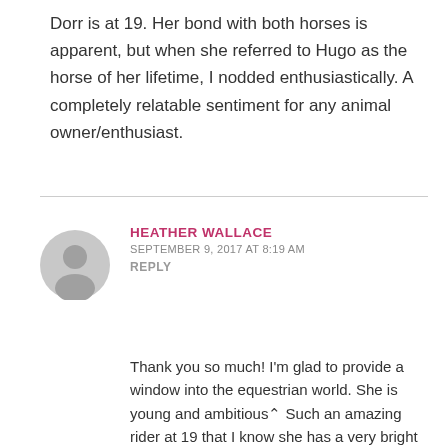Dorr is at 19. Her bond with both horses is apparent, but when she referred to Hugo as the horse of her lifetime, I nodded enthusiastically. A completely relatable sentiment for any animal owner/enthusiast.
HEATHER WALLACE
SEPTEMBER 9, 2017 AT 8:19 AM
REPLY
Thank you so much! I'm glad to provide a window into the equestrian world. She is young and ambitious^ Such an amazing rider at 19 that I know she has a very bright future ahead.